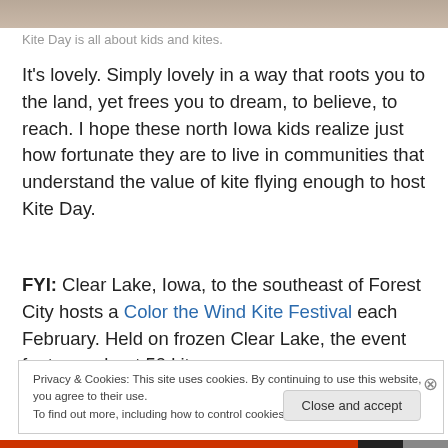[Figure (photo): Top portion of a photo showing kite day event]
Kite Day is all about kids and kites.
It’s lovely. Simply lovely in a way that roots you to the land, yet frees you to dream, to believe, to reach. I hope these north Iowa kids realize just how fortunate they are to live in communities that understand the value of kite flying enough to host Kite Day.
FYI: Clear Lake, Iowa, to the southeast of Forest City hosts a Color the Wind Kite Festival each February. Held on frozen Clear Lake, the event features about 50 kites,
Privacy & Cookies: This site uses cookies. By continuing to use this website, you agree to their use.
To find out more, including how to control cookies, see here: Cookie Policy
Close and accept